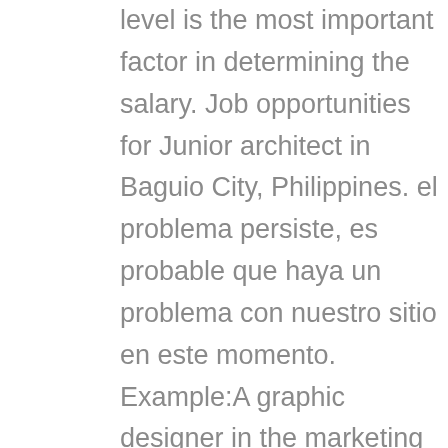level is the most important factor in determining the salary. Job opportunities for Junior architect in Baguio City, Philippines. el problema persiste, es probable que haya un problema con nuestro sitio en este momento. Example:A graphic designer in the marketing department of a hospital. Lo sentimos, pero hemos tenido problemas al procesar tu solicitud. Sie hier zum erneuten Laden. ... internship for architecture jobs. Besteht das page. An early career Intern Architect with 1-4 years of experience earns an